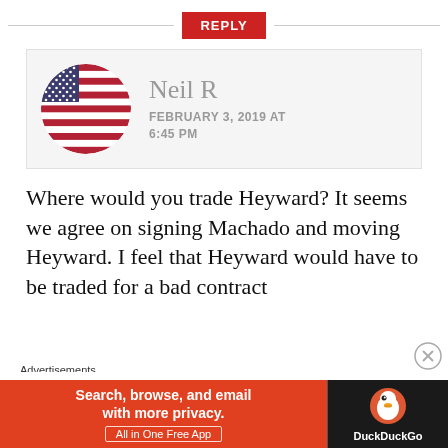[Figure (other): REPLY button with horizontal lines on both sides]
[Figure (photo): Circular avatar photo of an American flag]
Neil R
FEBRUARY 3, 2019 AT 6:45 PM
Where would you trade Heyward? It seems we agree on signing Machado and moving Heyward. I feel that Heyward would have to be traded for a bad contract
[Figure (screenshot): DuckDuckGo advertisement banner: Search, browse, and email with more privacy. All in One Free App]
Advertisements